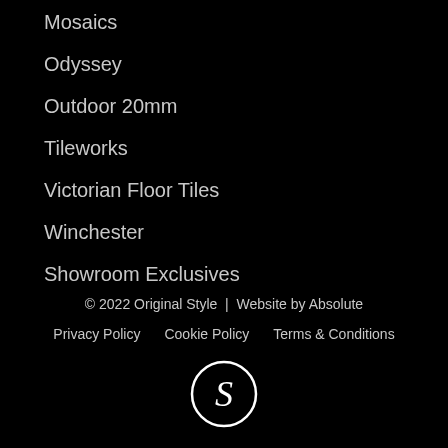Mosaics
Odyssey
Outdoor 20mm
Tileworks
Victorian Floor Tiles
Winchester
Showroom Exclusives
© 2022 Original Style  |  Website by Absolute
Privacy Policy    Cookie Policy    Terms & Conditions
[Figure (logo): Circular logo with letter S inside a ring, white on black background]